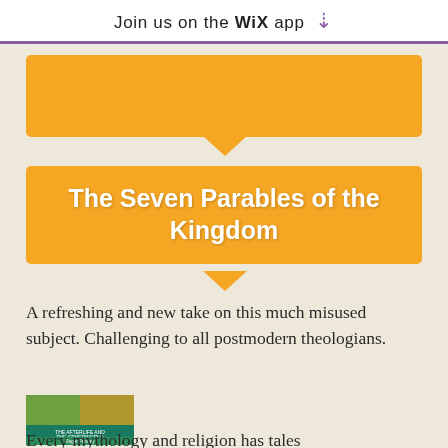Join us on the WiX app ⬇
The Seven Parables of the Kingdom
A refreshing and new take on this much misused subject. Challenging to all postmodern theologians.
[Figure (photo): Book cover image showing medieval/religious artwork with text 'The Afterlife and the Otherworld' and 'Roger Penney']
Every mythology and religion has tales